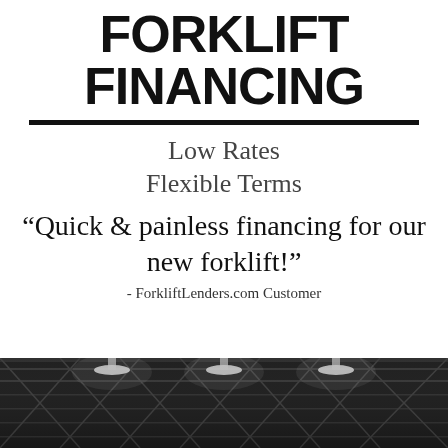FORKLIFT FINANCING
Low Rates
Flexible Terms
“Quick & painless financing for our new forklift!”
- ForkliftLenders.com Customer
[Figure (photo): Black and white photo of a warehouse interior showing ceiling structure with lights and metal beams/rafters viewed from below]